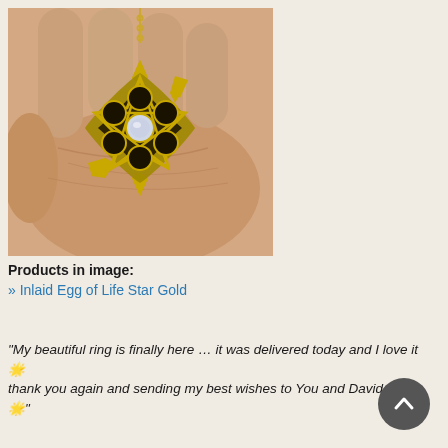[Figure (photo): A hand holding a gold geometric pendant necklace with a moonstone center, shaped like an interlocking star/flower pattern (Egg of Life design), hanging from a gold chain.]
Products in image:
» Inlaid Egg of Life Star Gold
"My beautiful ring is finally here … it was delivered today and I love it 🌟 thank you again and sending my best wishes to You and David 🌟 🌟".